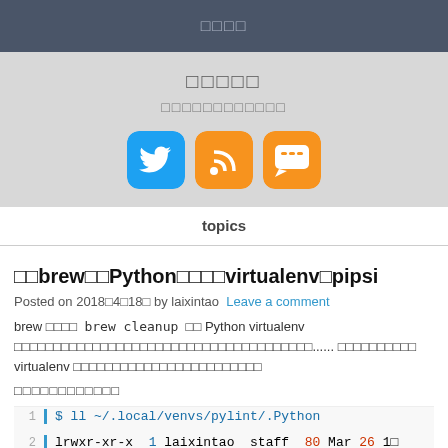□□□□
□□□□□
□□□□□□□□□□□□
[Figure (infographic): Social media icons: Twitter (blue), RSS (orange), Chat/Speakr (orange)]
topics
□□brew□□Python□□□□virtualenv□pipsi
Posted on 2018□4□18□ by laixintao   Leave a comment
brew □□□□  brew cleanup  □□ Python virtualenv □□□□□□□□□□□□□□□□□□□□□□□□□□□□□□...... □□□□□□□□□□ virtualenv □□□□□□□□□□□□□□□□□□□□□□□□
□□□□□□□□□□□□
$ ll ~/.local/venvs/pylint/.Python
lrwxr-xr-x  1 laixintao  staff  80 Mar 26 1□